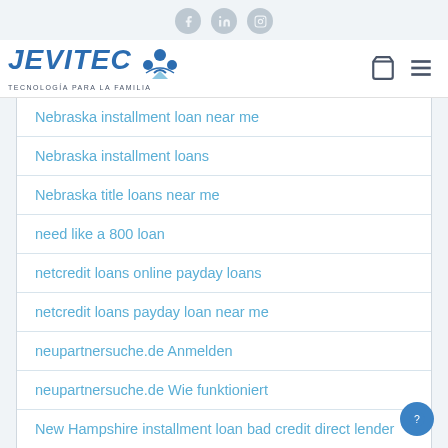Social media icons: Facebook, LinkedIn, Instagram
[Figure (logo): JEVITEC logo with tagline TECNOLOGÍA PARA LA FAMILIA, cart and menu icons on the right]
Nebraska installment loan near me
Nebraska installment loans
Nebraska title loans near me
need like a 800 loan
netcredit loans online payday loans
netcredit loans payday loan near me
neupartnersuche.de Anmelden
neupartnersuche.de Wie funktioniert
New Hampshire installment loan bad credit direct lender